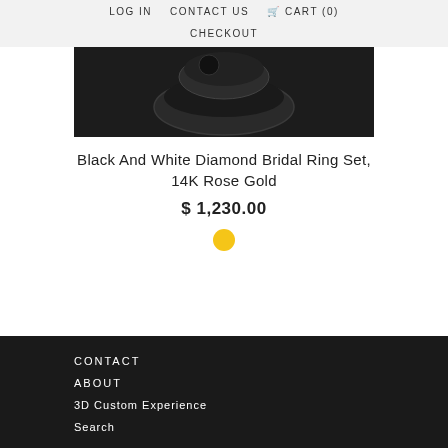LOG IN   CONTACT US   🛒 CART (0)   CHECKOUT
[Figure (photo): Product photo of a black diamond bridal ring set on a dark background, showing the rings from above with minimal lighting.]
Black And White Diamond Bridal Ring Set, 14K Rose Gold
$ 1,230.00
[Figure (other): Yellow/gold circular color swatch button]
CONTACT
ABOUT
3D Custom Experience
Search